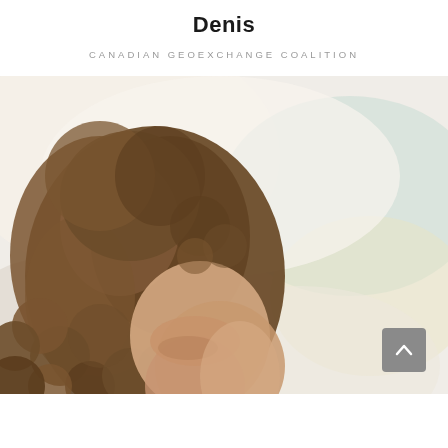Denis
CANADIAN GEOEXCHANGE COALITION
[Figure (photo): A person with curly hair looking downward, photographed against a soft blurred pastel background with light green, yellow, and white tones. Only the top of the head and partial face are visible.]